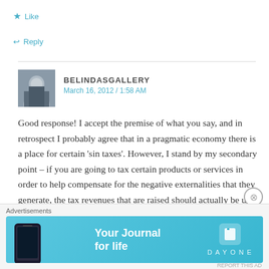★ Like
↩ Reply
BELINDASGALLERY
March 16, 2012 / 1:58 AM
Good response! I accept the premise of what you say, and in retrospect I probably agree that in a pragmatic economy there is a place for certain 'sin taxes'. However, I stand by my secondary point – if you are going to tax certain products or services in order to help compensate for the negative externalities that they generate, the tax revenues that are raised should actually be used to mitigate…
Advertisements
[Figure (screenshot): Day One app advertisement banner with text 'Your Journal for life' on a light blue background]